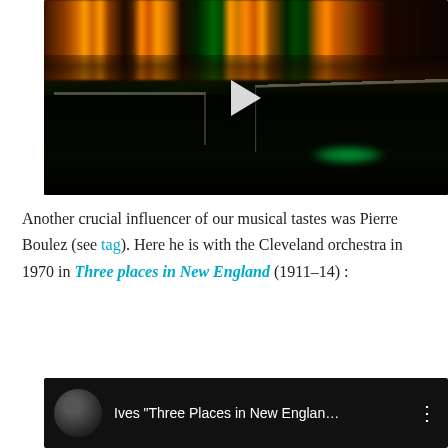[Figure (screenshot): Night cityscape video thumbnail with play button. Shows city lights reflected in water, dark park foreground with fence railings, green light visible. Play button triangle in center.]
Another crucial influencer of our musical tastes was Pierre Boulez (see tag). Here he is with the Cleveland orchestra in 1970 in Three places in New England (1911–14) :
[Figure (screenshot): YouTube video embed thumbnail showing Ives 'Three Places in New Englan...' with a circular profile thumbnail on dark background and three-dot menu icon.]